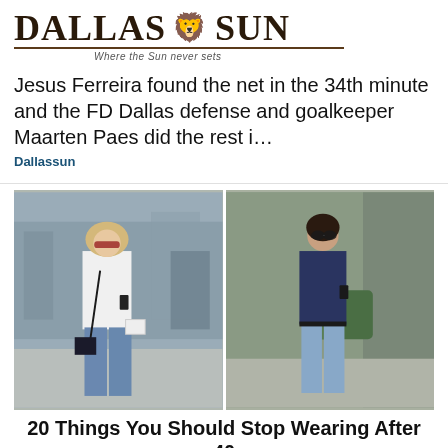[Figure (logo): Dallas Sun newspaper logo with lion crest, tagline 'Where the Sun never sets']
Jesus Ferreira found the net in the 34th minute and the FD Dallas defense and goalkeeper Maarten Paes did the rest i…
Dallassun
[Figure (photo): Two side-by-side photos of women walking outdoors wearing casual outfits with jeans]
20 Things You Should Stop Wearing After 40